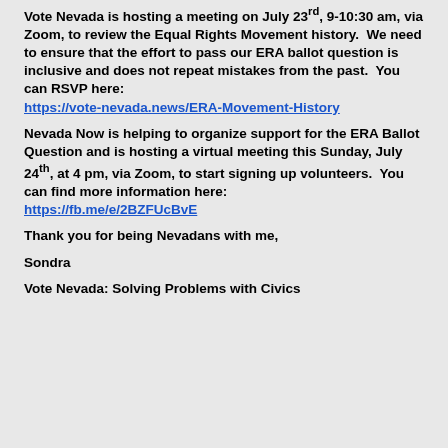Vote Nevada is hosting a meeting on July 23rd, 9-10:30 am, via Zoom, to review the Equal Rights Movement history.  We need to ensure that the effort to pass our ERA ballot question is inclusive and does not repeat mistakes from the past.  You can RSVP here: https://vote-nevada.news/ERA-Movement-History
Nevada Now is helping to organize support for the ERA Ballot Question and is hosting a virtual meeting this Sunday, July 24th, at 4 pm, via Zoom, to start signing up volunteers.  You can find more information here: https://fb.me/e/2BZFUcBvE
Thank you for being Nevadans with me,
Sondra
Vote Nevada: Solving Problems with Civics